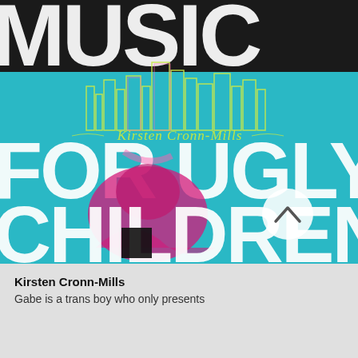[Figure (illustration): Book cover for 'Music For Ugly Children' by Kirsten Cronn-Mills. Large bold white and black letters spelling fragments of the title 'FOR UGLY CHILDREN' on a teal/cyan background, with a city skyline outlined in neon yellow, a magenta/pink abstract figure, and the author's name in yellow-green cursive script. A circular chevron/up-arrow UI button overlays the lower right of the cover.]
Kirsten Cronn-Mills
Gabe is a trans boy who only presents